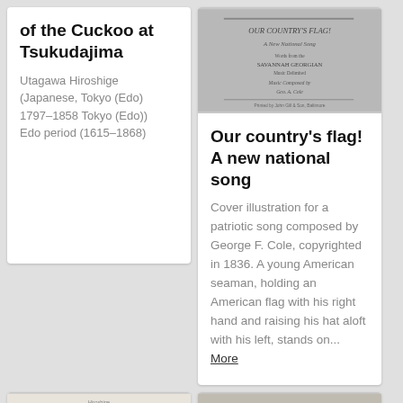of the Cuckoo at Tsukudajima
Utagawa Hiroshige (Japanese, Tokyo (Edo) 1797–1858 Tokyo (Edo)) Edo period (1615–1868)
[Figure (photo): Title page of sheet music reading 'Our Country's Flag! A New National Song' by Savannah Georgian, music composed by Geo. A. Cole]
Our country's flag! A new national song
Cover illustration for a patriotic song composed by George F. Cole, copyrighted in 1836. A young American seaman, holding an American flag with his right hand and raising his hat aloft with his left, stands on... More
[Figure (photo): A bird (likely a cuckoo) illustrated in a naturalist style against a light background]
[Figure (photo): Sheet music or song book cover reading 'The Log Cabin Song' with a SHAR badge overlay]